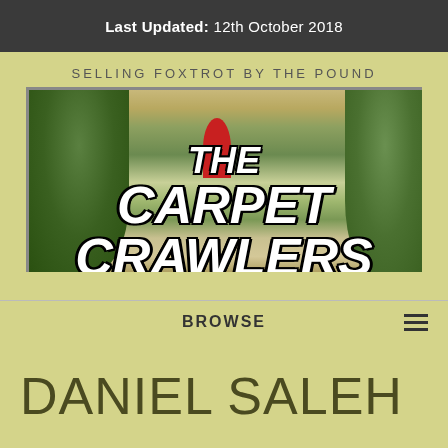Last Updated: 12th October 2018
SELLING FOXTROT BY THE POUND
[Figure (illustration): Album art banner for 'The Carpet Crawlers' website showing a painting with figures in a landscape with trees, overlaid with bold italic white text reading 'THE CARPET CRAWLERS']
BROWSE
DANIEL SALEH